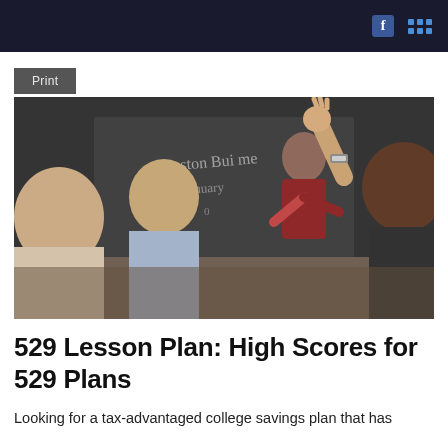Print
[Figure (photo): Classroom scene with students sitting at desks facing a female teacher standing at a chalkboard. One student has their hand raised.]
529 Lesson Plan: High Scores for 529 Plans
Looking for a tax-advantaged college savings plan that has